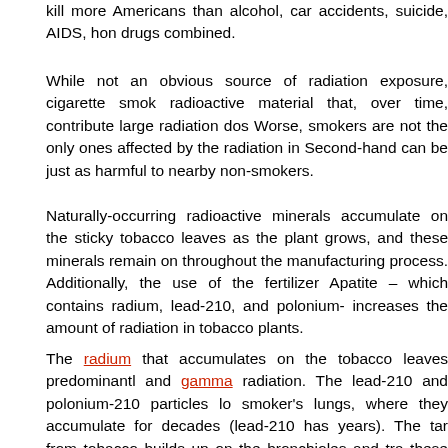kill more Americans than alcohol, car accidents, suicide, AIDS, hon drugs combined.
While not an obvious source of radiation exposure, cigarette smo radioactive material that, over time, contribute large radiation dos Worse, smokers are not the only ones affected by the radiation in Second-hand can be just as harmful to nearby non-smokers.
Naturally-occurring radioactive minerals accumulate on the sticky tobacco leaves as the plant grows, and these minerals remain on throughout the manufacturing process. Additionally, the use of the fertilizer Apatite – which contains radium, lead-210, and polonium- increases the amount of radiation in tobacco plants.
The radium that accumulates on the tobacco leaves predominantly and gamma radiation. The lead-210 and polonium-210 particles lo smoker's lungs, where they accumulate for decades (lead-210 has years). The tar from tobacco builds up on the bronchioles and tra these particles. Over time, these particles can damage the lungs a cancer.